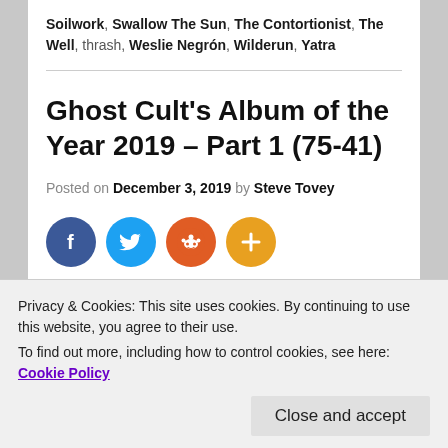Soilwork, Swallow The Sun, The Contortionist, The Well, thrash, Weslie Negrón, Wilderun, Yatra
Ghost Cult's Album of the Year 2019 – Part 1 (75-41)
Posted on December 3, 2019 by Steve Tovey
[Figure (infographic): Social sharing icons: Facebook (dark blue circle with 'f'), Twitter (light blue circle with bird icon), Reddit (orange circle with alien mascot), More/Add (orange circle with plus sign)]
Privacy & Cookies: This site uses cookies. By continuing to use this website, you agree to their use.
To find out more, including how to control cookies, see here: Cookie Policy
Close and accept